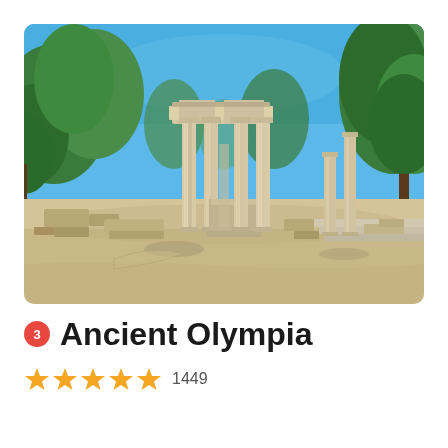[Figure (photo): Ancient Olympia ruins photograph showing standing Doric columns with an entablature against a bright blue sky, surrounded by green pine and olive trees, with scattered stone ruins on sandy ground]
3 Ancient Olympia
★★★★★ 1449